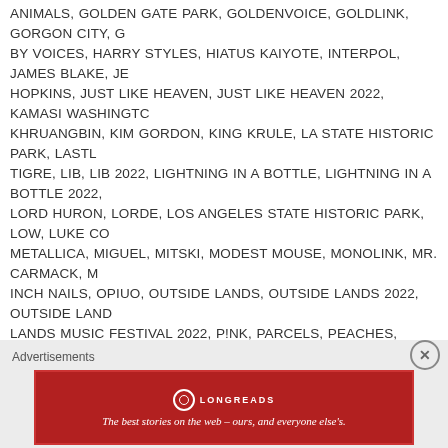ANIMALS, GOLDEN GATE PARK, GOLDENVOICE, GOLDLINK, GORGON CITY, GUIDED BY VOICES, HARRY STYLES, HIATUS KAIYOTE, INTERPOL, JAMES BLAKE, JE... HOPKINS, JUST LIKE HEAVEN, JUST LIKE HEAVEN 2022, KAMASI WASHINGTON, KHRUANGBIN, KIM GORDON, KING KRULE, LA STATE HISTORIC PARK, LASTL... TIGRE, LIB, LIB 2022, LIGHTNING IN A BOTTLE, LIGHTNING IN A BOTTLE 2022, LORD HURON, LORDE, LOS ANGELES STATE HISTORIC PARK, LOW, LUKE CO... METALLICA, MIGUEL, MITSKI, MODEST MOUSE, MONOLINK, MR. CARMACK, N... INCH NAILS, OPIUO, OUTSIDE LANDS, OUTSIDE LANDS 2022, OUTSIDE LAND... LANDS MUSIC FESTIVAL 2022, P!NK, PARCELS, PEACHES, PRIMAVERA SOUN... PRIMAVERA SOUND LA, PRIMAVERA SOUND LA 2022, PRIMAVERA SOUND LO... SOUND LOS ANGELES 2022, PURITY RING, ROSE BOWL, SANTIGOLD, SEASID... SG LEWIS, SHERYL CROW, SIR, SLEATER-KINNEY, SMINO, SMOKIN GROOVES, SONIC YOUTH, STEREOLAB, STONE TEMPLE PILOTS, SWEDISH HOUSE MAF... RAVEONETTES, THE ROOTS, THE SHINS, THE SMASHING PUMPKINS, THE ST... THIS AIN'T NO PICNIC 2022, THIS AIN'T NO PICNIC FESTIVAL, THIS AIN'T NO P... THUNDERCAT, TIERRA WHACK, TORO Y MOI, TWENTY ONE PILOTS, VANCE J... WEEZER, WOLF PARADE, YE, YO LA TENGO
Advertisements
[Figure (logo): Longreads advertisement banner in red with logo and tagline: The best stories on the web – ours, and everyone else's.]